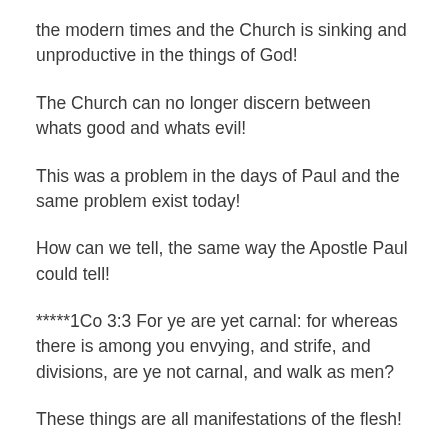the modern times and the Church is sinking and unproductive in the things of God!
The Church can no longer discern between whats good and whats evil!
This was a problem in the days of Paul and the same problem exist today!
How can we tell, the same way the Apostle Paul could tell!
*****1Co 3:3 For ye are yet carnal: for whereas there is among you envying, and strife, and divisions, are ye not carnal, and walk as men?
These things are all manifestations of the flesh!